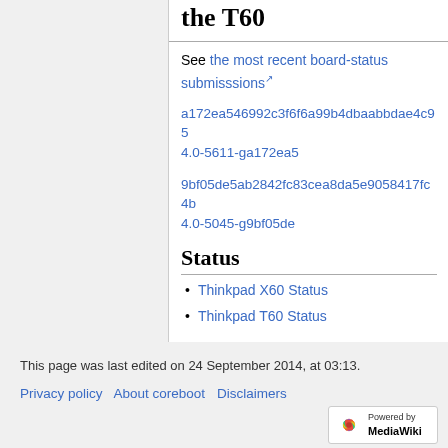the T60
See the most recent board-status submisssions
a172ea546992c3f6f6a99b4dbaabbdae4c95... 4.0-5611-ga172ea5
9bf05de5ab2842fc83cea8da5e9058417fc4b... 4.0-5045-g9bf05de
Status
Thinkpad X60 Status
Thinkpad T60 Status
This page was last edited on 24 September 2014, at 03:13.
Privacy policy   About coreboot   Disclaimers